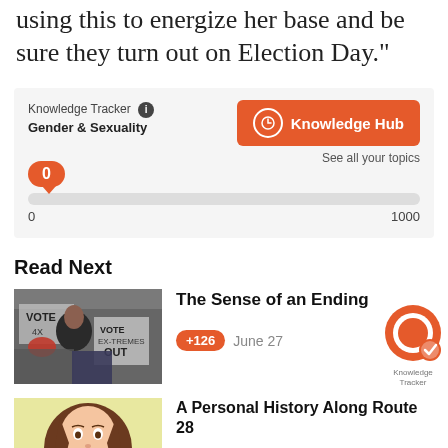using this to energize her base and be sure they turn out on Election Day."
Knowledge Tracker
Gender & Sexuality
Knowledge Hub
See all your topics
0
0
1000
Read Next
[Figure (photo): Protest photo showing people holding VOTE signs]
The Sense of an Ending
+126  June 27
[Figure (illustration): Cartoon illustration of a woman with long brown hair and red lips]
A Personal History Along Route 28
+89  April 15